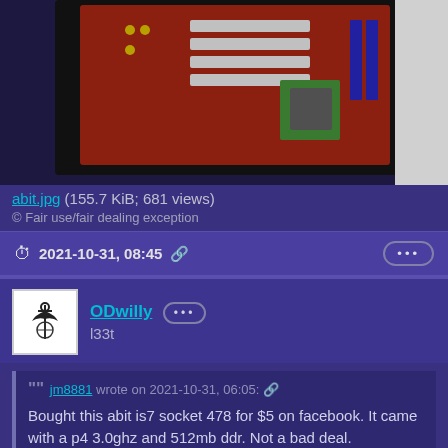[Figure (photo): Photo of an abit IS7 Socket 478 motherboard on a dark surface]
abit.jpg (155.7 KiB; 681 views)
© Fair use/fair dealing exception
2021-10-31, 08:45
ODwilly
l33t
jm8881 wrote on 2021-10-31, 06:05: Bought this abit is7 socket 478 for $5 on facebook. It came with a p4 3.0ghz and 512mb ddr. Not a bad deal.
Looks like a killer XP/98 basis. Pretty board